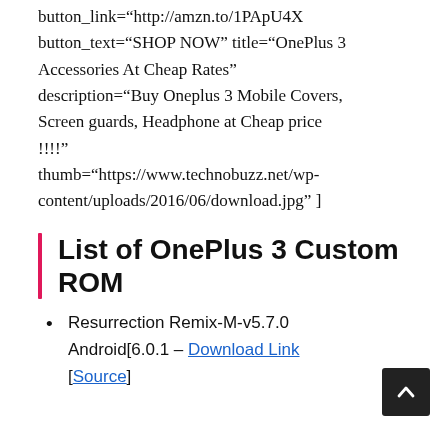button_link="http://amzn.to/1PApU4X button_text="SHOP NOW" title="OnePlus 3 Accessories At Cheap Rates" description="Buy Oneplus 3 Mobile Covers, Screen guards, Headphone at Cheap price !!!!" thumb="https://www.technobuzz.net/wp-content/uploads/2016/06/download.jpg" ]
List of OnePlus 3 Custom ROM
Resurrection Remix-M-v5.7.0 Android[6.0.1 – Download Link [Source]